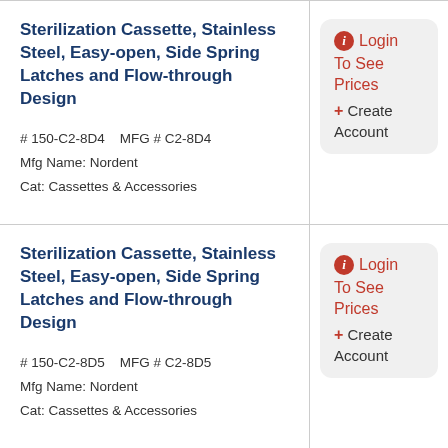Sterilization Cassette, Stainless Steel, Easy-open, Side Spring Latches and Flow-through Design
# 150-C2-8D4    MFG # C2-8D4
Mfg Name: Nordent
Cat: Cassettes & Accessories
Login To See Prices + Create Account
Sterilization Cassette, Stainless Steel, Easy-open, Side Spring Latches and Flow-through Design
# 150-C2-8D5    MFG # C2-8D5
Mfg Name: Nordent
Cat: Cassettes & Accessories
Login To See Prices + Create Account